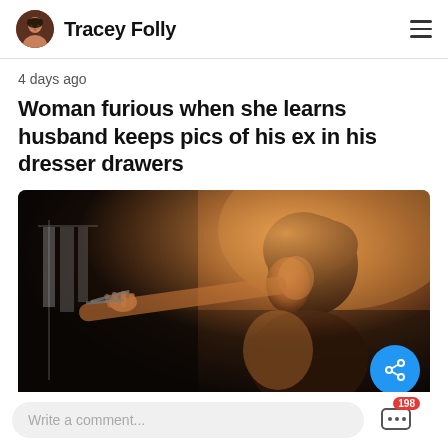Tracey Folly
4 days ago
Woman furious when she learns husband keeps pics of his ex in his dresser drawers
[Figure (photo): A woman with short dark hair photographed from behind/side in dim dramatic lighting, reaching her hand toward something off-camera, with dark background and warm highlights.]
Write a comment...